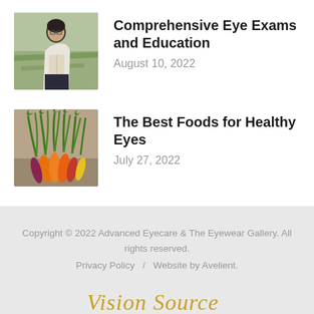[Figure (photo): Young woman with glasses holding a book, standing outdoors in a field]
Comprehensive Eye Exams and Education
August 10, 2022
[Figure (photo): Bundle of fresh colorful carrots with green tops on a surface]
The Best Foods for Healthy Eyes
July 27, 2022
Copyright © 2022 Advanced Eyecare & The Eyewear Gallery. All rights reserved. Privacy Policy / Website by Avelient. Vision Source Back to Top